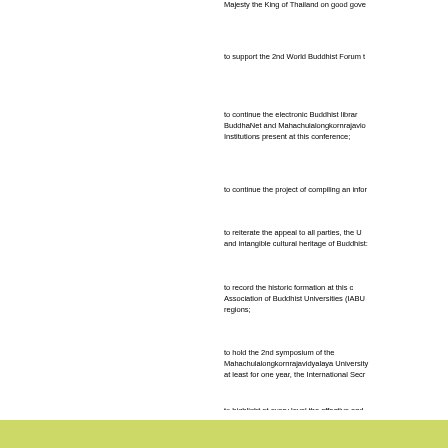Majesty the King of Thailand on good gove
to support the 2nd World Buddhist Forum t
to continue the electronic Buddhist librar BuddhaNet and Mahachulalongkornrajavio Institutions present at this conference;
to continue the project of compiling an infor
to reiterate the appeal to all parties, the U and intangible cultural heritage of Buddhist:
to record the historic formation at this c Association of Buddhist Universities (IABU regions;
to hold the 2nd symposium of the Mahachulalongkornrajavidyalaya University at least for one year, the International Secr
to highlight at every level the effective and means and modern technology in dissemin of Buddha images.
Dated: May 29 2007/2550.